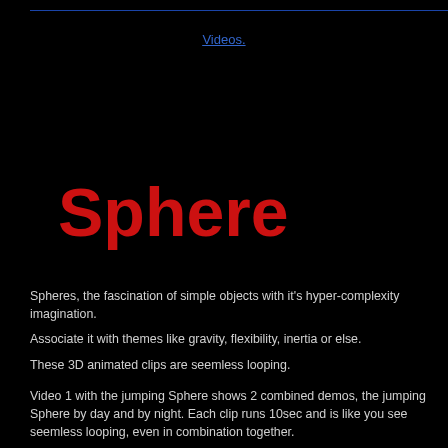Videos.
Sphere
Spheres, the fascination of simple objects with it's hyper-complexity imagination.
Associate it with themes like gravity, flexibility, inertia or else.
These 3D animated clips are seemless looping.

Video 1 with the jumping Sphere shows 2 combined demos, the jumping Sphere by day and by night. Each clip runs 10sec and is like you see seemless looping, even in combination together.
Both 10 sec animation clips are available for commercial use on request.
Can you imagine a better meditation object?

Video 2 shows 3 demos which i call Drop2Heaven 1, 2 and Face. Each clips runs 10 sec and like before all 3 clips can be combined and faded